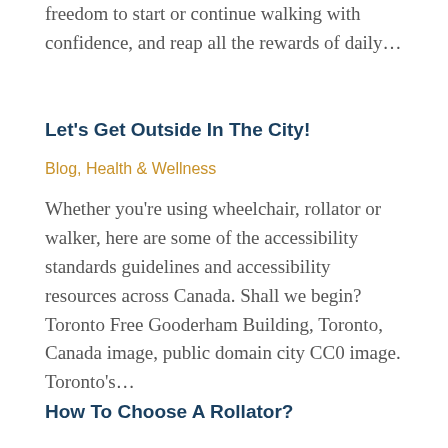freedom to start or continue walking with confidence, and reap all the rewards of daily…
Let's Get Outside In The City!
Blog, Health & Wellness
Whether you're using wheelchair, rollator or walker, here are some of the accessibility standards guidelines and accessibility resources across Canada. Shall we begin? Toronto Free Gooderham Building, Toronto, Canada image, public domain city CC0 image. Toronto's…
How To Choose A Rollator?